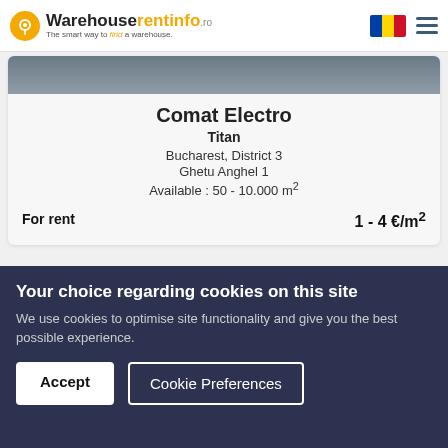Warehouserentinfo.ro - The smart way to find a warehouse.
Comat Electro
Titan
Bucharest, District 3
Ghetu Anghel 1
Available : 50 - 10.000 m²
For rent    1 - 4 €/m²
[Figure (screenshot): Second listing card with featured offer badge and landscape photo]
Your choice regarding cookies on this site
We use cookies to optimise site functionality and give you the best possible experience.
Accept   Cookie Preferences